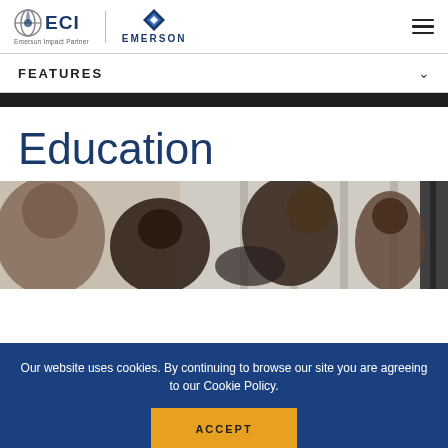ECI Emerson Impact Partner | EMERSON
FEATURES
Education
[Figure (photo): Students gathered around a computer or workstation, a man leaning forward looking at a screen, in a classroom or lab setting with curtains or panels in the background]
Our website uses cookies. By continuing to browse our site you are agreeing to our Cookie Policy.
ACCEPT